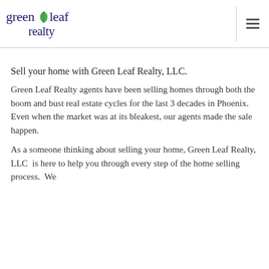[Figure (logo): Green Leaf Realty logo with dark navy text and a green leaf icon between 'green' and 'leaf']
Sell your home with Green Leaf Realty, LLC.
Green Leaf Realty agents have been selling homes through both the boom and bust real estate cycles for the last 3 decades in Phoenix.  Even when the market was at its bleakest, our agents made the sale happen.
As a someone thinking about selling your home, Green Leaf Realty, LLC  is here to help you through every step of the home selling process.  We